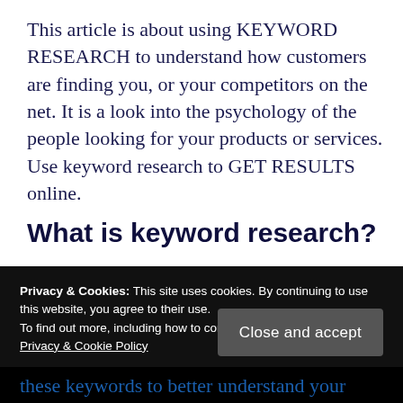This article is about using KEYWORD RESEARCH to understand how customers are finding you, or your competitors on the net. It is a look into the psychology of the people looking for your products or services. Use keyword research to GET RESULTS online.
What is keyword research?
Privacy & Cookies: This site uses cookies. By continuing to use this website, you agree to their use.
To find out more, including how to control cookies, see here:
Privacy & Cookie Policy
Close and accept
these keywords to better understand your